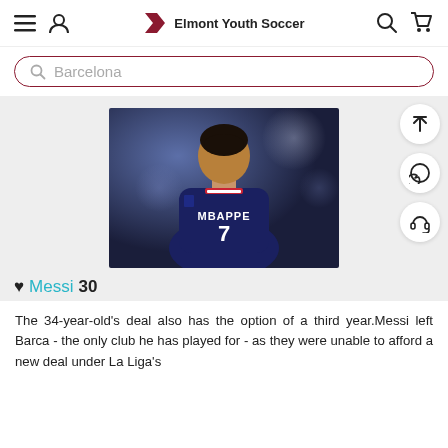Elmont Youth Soccer
Barcelona
[Figure (photo): Kylian Mbappe seen from behind wearing PSG navy blue jersey with MBAPPE and number 7, blurred stadium background]
♥ Messi 30
The 34-year-old's deal also has the option of a third year.Messi left Barca - the only club he has played for - as they were unable to afford a new deal under La Liga's